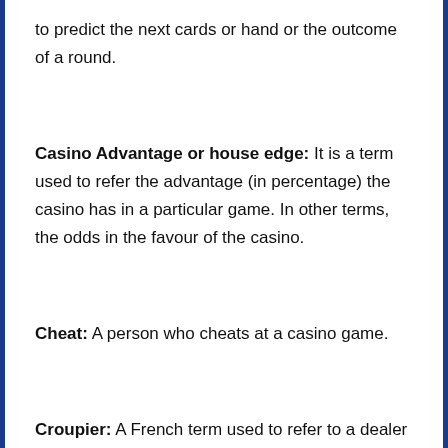to predict the next cards or hand or the outcome of a round.
Casino Advantage or house edge: It is a term used to refer the advantage (in percentage) the casino has in a particular game. In other terms, the odds in the favour of the casino.
Cheat: A person who cheats at a casino game.
Croupier: A French term used to refer to a dealer at casino table games.